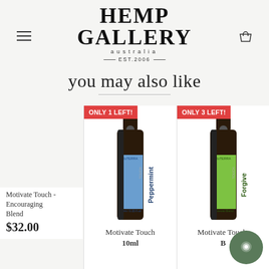HEMP GALLERY australia — EST.2006 —
you may also like
[Figure (photo): doTERRA Peppermint Touch essential oil roller bottle with blue label, with red badge reading ONLY 1 LEFT!]
[Figure (photo): doTERRA Forgive Touch essential oil roller bottle with green label, with red badge reading ONLY 3 LEFT!]
Motivate Touch - Encouraging Blend
$32.00
Motivate Touch
10ml
Motivate Touch.
B